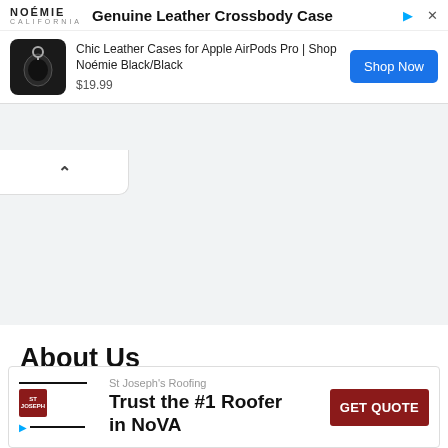[Figure (screenshot): Ad banner for Noémie Genuine Leather Crossbody Case showing a black AirPods case product image, price $19.99, and a blue Shop Now button. Logo says NOÉMIE CALIFORNIA.]
[Figure (screenshot): Collapse/minimize button area with upward chevron arrow (^) on white background.]
About Us
Gamelodu.com is the best gaming blog. Where we update the latest articles related
[Figure (screenshot): Bottom ad for St Joseph's Roofing: Trust the #1 Roofer in NoVA with a dark red GET QUOTE button.]